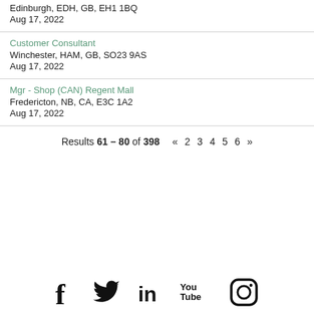Edinburgh, EDH, GB, EH1 1BQ
Aug 17, 2022
Customer Consultant
Winchester, HAM, GB, SO23 9AS
Aug 17, 2022
Mgr - Shop (CAN) Regent Mall
Fredericton, NB, CA, E3C 1A2
Aug 17, 2022
Results 61 – 80 of 398  «  2  3  4  5  6  »
[Figure (other): Social media icons: Facebook, Twitter, LinkedIn, YouTube, Instagram]